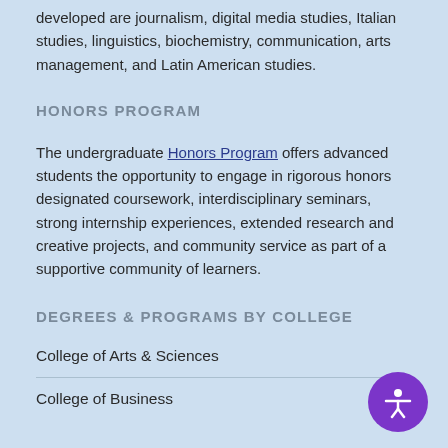developed are journalism, digital media studies, Italian studies, linguistics, biochemistry, communication, arts management, and Latin American studies.
HONORS PROGRAM
The undergraduate Honors Program offers advanced students the opportunity to engage in rigorous honors designated coursework, interdisciplinary seminars, strong internship experiences, extended research and creative projects, and community service as part of a supportive community of learners.
DEGREES & PROGRAMS BY COLLEGE
College of Arts & Sciences
College of Business